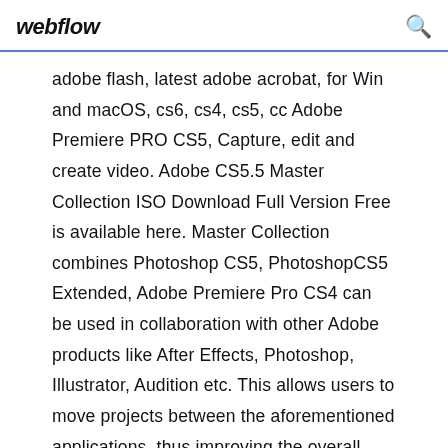webflow
adobe flash, latest adobe acrobat, for Win and macOS, cs6, cs4, cs5, cc Adobe Premiere PRO CS5, Capture, edit and create video. Adobe CS5.5 Master Collection ISO Download Full Version Free is available here. Master Collection combines Photoshop CS5, PhotoshopCS5 Extended, Adobe Premiere Pro CS4 can be used in collaboration with other Adobe products like After Effects, Photoshop, Illustrator, Audition etc. This allows users to move projects between the aforementioned applications, thus improving the overall... adobe kostenlos deutsch, adobe photoshop free full download